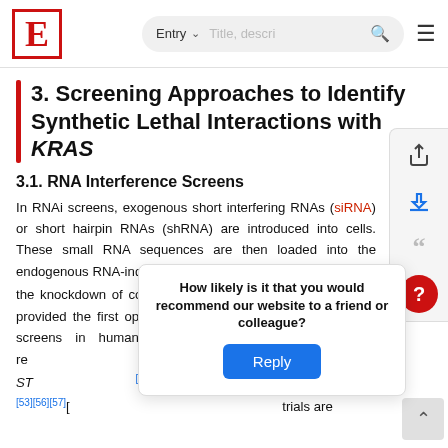E [logo] | Entry Search bar
3. Screening Approaches to Identify Synthetic Lethal Interactions with KRAS
3.1. RNA Interference Screens
In RNAi screens, exogenous short interfering RNAs (siRNA) or short hairpin RNAs (shRNA) are introduced into cells. These small RNA sequences are then loaded into the endogenous RNA-induced silencing complex (RISC), allowing the knockdown of complementary target genes [55]. This tool provided the first opportunity to carry out scalable genetic screens in human cells, and many studies have reported synthetic lethal interactions with KRAS [1, WT1, ST... [4] [53][56][57][ ... trials are
How likely is it that you would recommend our website to a friend or colleague? Reply